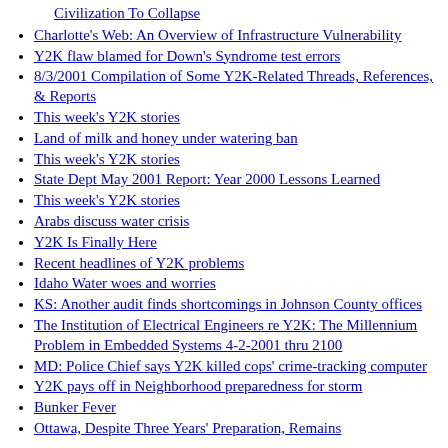Civilization To Collapse
Charlotte's Web: An Overview of Infrastructure Vulnerability
Y2K flaw blamed for Down's Syndrome test errors
8/3/2001 Compilation of Some Y2K-Related Threads, References, & Reports
This week's Y2K stories
Land of milk and honey under watering ban
This week's Y2K stories
State Dept May 2001 Report: Year 2000 Lessons Learned
This week's Y2K stories
Arabs discuss water crisis
Y2K Is Finally Here
Recent headlines of Y2K problems
Idaho Water woes and worries
KS: Another audit finds shortcomings in Johnson County offices
The Institution of Electrical Engineers re Y2K: The Millennium Problem in Embedded Systems 4-2-2001 thru 2100
MD: Police Chief says Y2K killed cops' crime-tracking computer
Y2K pays off in Neighborhood preparedness for storm
Bunker Fever
Ottawa, Despite Three Years' Preparation, Remains